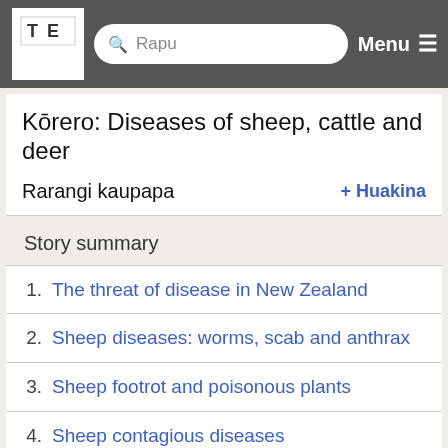Te Ara — Rapu — Menu
Kōrero: Diseases of sheep, cattle and deer
Rarangi kaupapa + Huakina
Story summary
1. The threat of disease in New Zealand
2. Sheep diseases: worms, scab and anthrax
3. Sheep footrot and poisonous plants
4. Sheep contagious diseases
5. Reproductive and nervous system diseases